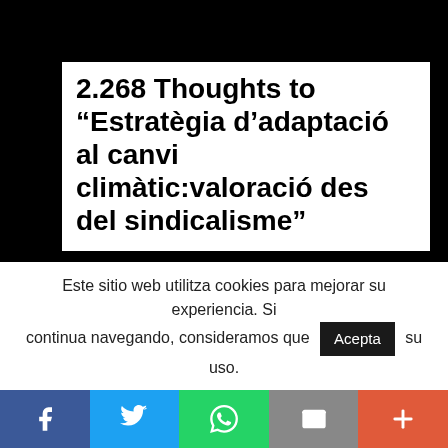2.268 Thoughts to “Estratègia d’adaptació al canvi climàtic:valoració des del sindicalisme”
bet sports online ha dit:
21 juny, 2021 a les 9:42 pm
Respon
Este sitio web utilitza cookies para mejorar su experiencia. Si continua navegando, consideramos que Acepta su uso.